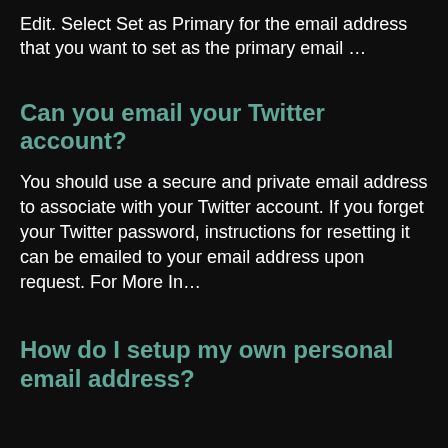Edit. Select Set as Primary for the email address that you want to set as the primary email &hellip;
Can you email your Twitter account?
You should use a secure and private email address to associate with your Twitter account. If you forget your Twitter password, instructions for resetting it can be emailed to your email address upon request. For More In&hellip;
How do I setup my own personal email address?